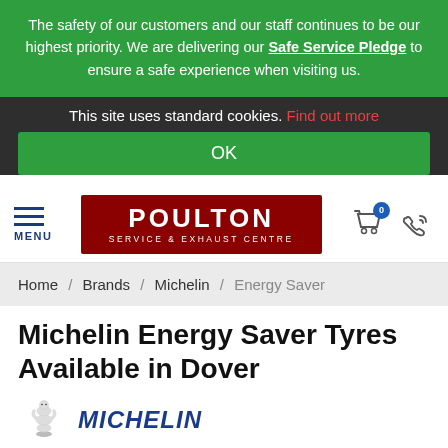The safety of our customers and our staff continues to be our highest priority. We are delivering our Safe Service Pledge to ensure a safe experience when visiting us.
This site uses standard cookies. Find out more
OK
[Figure (logo): Poulton Service & Exhaust Centre logo with red background and white text, with hamburger menu icon and navigation icons]
Home / Brands / Michelin / Energy Saver
Michelin Energy Saver Tyres Available in Dover
[Figure (logo): Michelin man logo with Michelin brand text in blue italic]